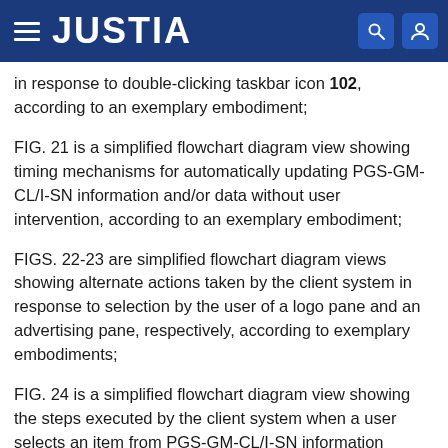JUSTIA
in response to double-clicking taskbar icon 102, according to an exemplary embodiment;
FIG. 21 is a simplified flowchart diagram view showing timing mechanisms for automatically updating PGS-GM-CL/I-SN information and/or data without user intervention, according to an exemplary embodiment;
FIGS. 22-23 are simplified flowchart diagram views showing alternate actions taken by the client system in response to selection by the user of a logo pane and an advertising pane, respectively, according to exemplary embodiments;
FIG. 24 is a simplified flowchart diagram view showing the steps executed by the client system when a user selects an item from PGS-GM-CL/I-SN information and/or data subcategory list, according to an exemplary